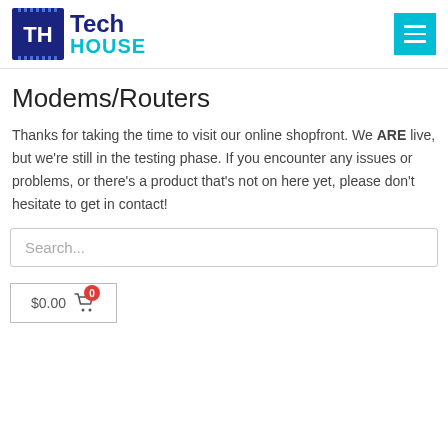[Figure (logo): Tech House logo with circuit board icon and text 'Tech' in dark blue and 'HOUSE' in cyan]
Modems/Routers
Thanks for taking the time to visit our online shopfront. We ARE live, but we're still in the testing phase. If you encounter any issues or problems, or there's a product that's not on here yet, please don't hesitate to get in contact!